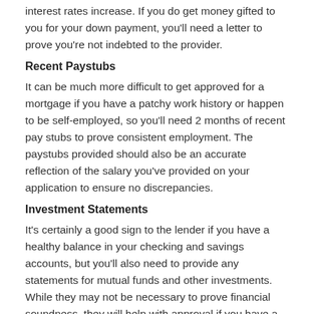interest rates increase. If you do get money gifted to you for your down payment, you'll need a letter to prove you're not indebted to the provider.
Recent Paystubs
It can be much more difficult to get approved for a mortgage if you have a patchy work history or happen to be self-employed, so you'll need 2 months of recent pay stubs to prove consistent employment. The paystubs provided should also be an accurate reflection of the salary you've provided on your application to ensure no discrepancies.
Investment Statements
It's certainly a good sign to the lender if you have a healthy balance in your checking and savings accounts, but you'll also need to provide any statements for mutual funds and other investments. While they may not be necessary to prove financial soundness, they will help with approval if you have a lot of money squirreled away.
A Listing Of Debts